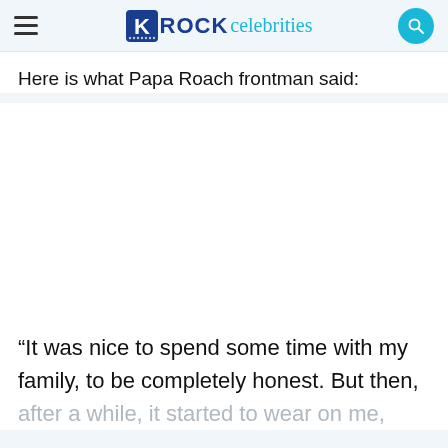ROCK celebrities
Here is what Papa Roach frontman said:
[Figure (photo): Embedded media/video placeholder (blank white area)]
“It was nice to spend some time with my family, to be completely honest. But then, after a while, it started to wear on me,